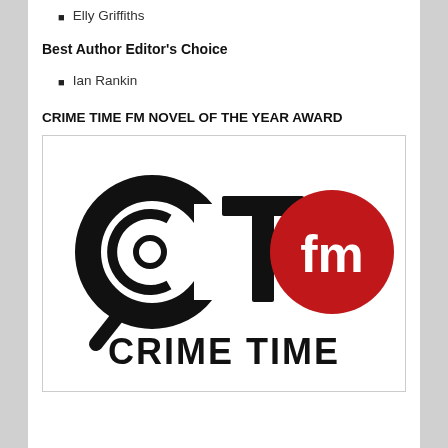Elly Griffiths
Best Author Editor's Choice
Ian Rankin
CRIME TIME FM NOVEL OF THE YEAR AWARD
[Figure (logo): Crime Time FM logo featuring large black CT letters with a magnifying glass C design, a red circle with white 'fm' text, and 'CRIME TIME' text below in bold black letters.]